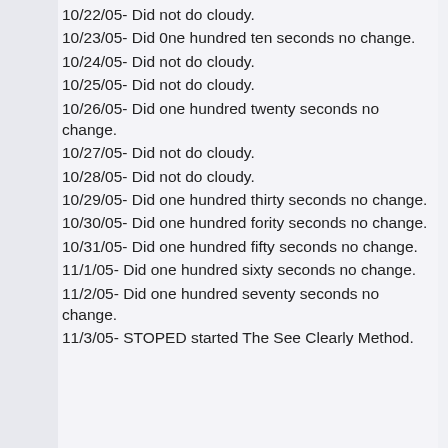10/22/05- Did not do cloudy.
10/23/05- Did 0ne hundred ten seconds no change.
10/24/05- Did not do cloudy.
10/25/05- Did not do cloudy.
10/26/05- Did one hundred twenty seconds no change.
10/27/05- Did not do cloudy.
10/28/05- Did not do cloudy.
10/29/05- Did one hundred thirty seconds no change.
10/30/05- Did one hundred fority seconds no change.
10/31/05- Did one hundred fifty seconds no change.
11/1/05- Did one hundred sixty seconds no change.
11/2/05- Did one hundred seventy seconds no change.
11/3/05- STOPED started The See Clearly Method.